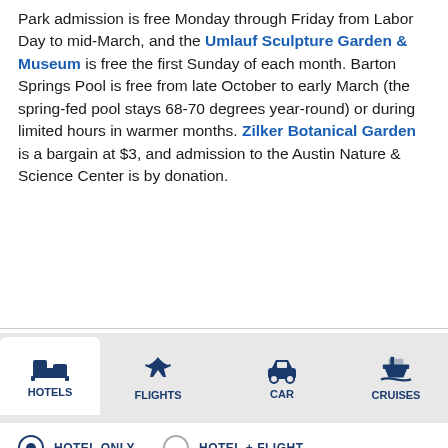Park admission is free Monday through Friday from Labor Day to mid-March, and the Umlauf Sculpture Garden & Museum is free the first Sunday of each month. Barton Springs Pool is free from late October to early March (the spring-fed pool stays 68-70 degrees year-round) or during limited hours in warmer months. Zilker Botanical Garden is a bargain at $3, and admission to the Austin Nature & Science Center is by donation.
Read More
[Figure (other): Navigation tabs for Hotels (selected), Flights, Car, and Cruises with icons]
HOTEL ONLY   HOTEL + FLIGHT
Enter Location